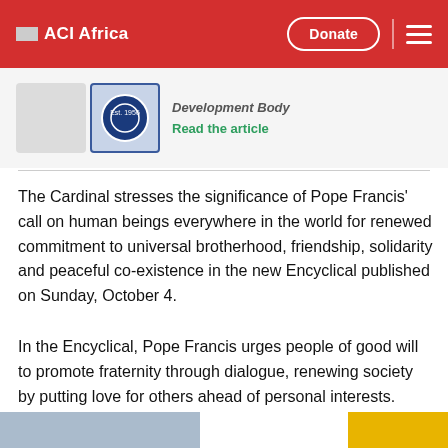ACI Africa — Donate
[Figure (screenshot): Partial article card with two logos and a 'Read the article' green link. Article title partially visible as 'Development Body']
The Cardinal stresses the significance of Pope Francis' call on human beings everywhere in the world for renewed commitment to universal brotherhood, friendship, solidarity and peaceful co-existence in the new Encyclical published on Sunday, October 4.
In the Encyclical, Pope Francis urges people of good will to promote fraternity through dialogue, renewing society by putting love for others ahead of personal interests.
[Figure (screenshot): Partial bottom strip showing the beginning of another article card or image section]